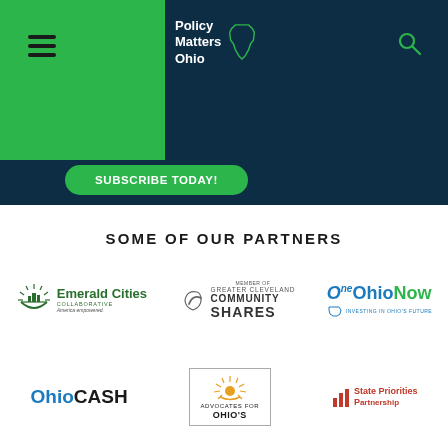[Figure (logo): Policy Matters Ohio website screenshot header with dark navy background, green sidebar, hamburger menu, Policy Matters Ohio logo with Ohio state outline, search icon, and green Subscribe Today button]
SOME OF OUR PARTNERS
[Figure (logo): Emerald Cities Collaborative logo - green circular icon with city skyline and sunrays]
[Figure (logo): Greater Cleveland Community Shares logo - member of Greater Cleveland Community Shares with circular arrow icon]
[Figure (logo): One Ohio Now logo - Investing in Ohio's Future]
[Figure (logo): Ohio CASH logo]
[Figure (logo): Advocates for Ohio's logo with sunburst icon in bordered box]
[Figure (logo): State Priorities Partnership logo with bar chart icon]